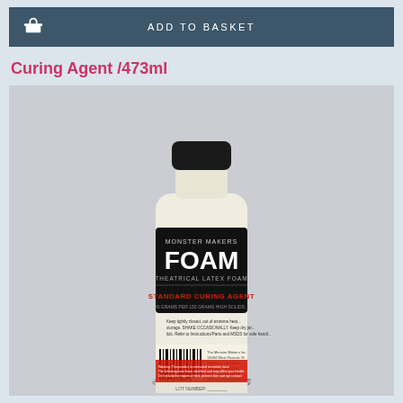ADD TO BASKET
Curing Agent /473ml
[Figure (photo): A bottle of Monster Makers Foam Theatrical Latex Foam Standard Curing Agent, 473ml, with black cap, cream/off-white bottle, black label with white and red text, and warning label at the bottom.]